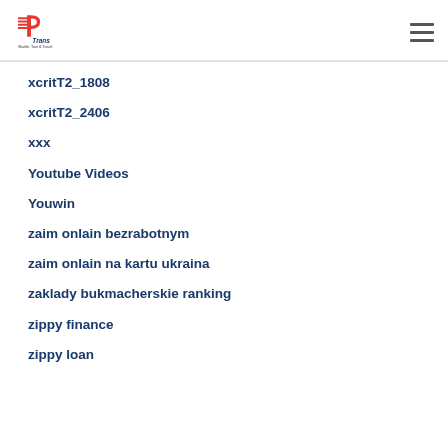P Trans Shuttle, Tour & Travel
xcritT2_1808
xcritT2_2406
xxx
Youtube Videos
Youwin
zaim onlain bezrabotnym
zaim onlain na kartu ukraina
zaklady bukmacherskie ranking
zippy finance
zippy loan